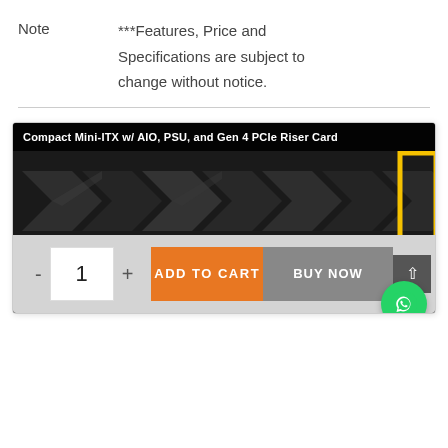Note	***Features, Price and Specifications are subject to change without notice.
[Figure (photo): Product image of a Compact Mini-ITX computer case with AIO, PSU, and Gen 4 PCIe Riser Card. Dark metallic chevron pattern background with yellow accent border. Title bar reads: Compact Mini-ITX w/ AIO, PSU, and Gen 4 PCIe Riser Card.]
- 1 + ADD TO CART BUY NOW